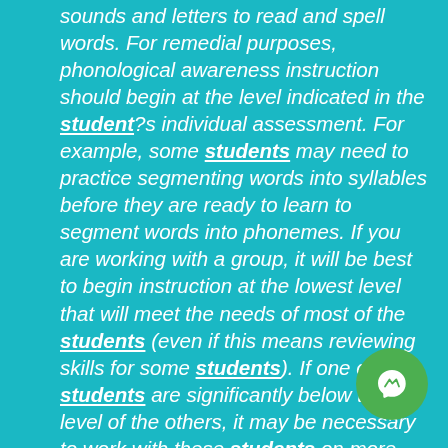sounds and letters to read and spell words. For remedial purposes, phonological awareness instruction should begin at the level indicated in the student?s individual assessment. For example, some students may need to practice segmenting words into syllables before they are ready to learn to segment words into phonemes. If you are working with a group, it will be best to begin instruction at the lowest level that will meet the needs of most of the students (even if this means reviewing skills for some students). If one or two students are significantly below the level of the others, it may be necessary to work with these students on more basic skills. Phonological awareness skills typically develop slowly during preschool and kindergarten and are usually not fully developed until after students learn to read (during grades 1 and 2). There is a reciprocal
[Figure (logo): Green circular Messenger-style chat icon with a lightning bolt symbol]